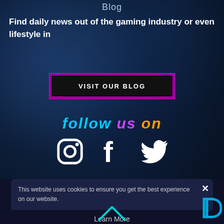Blog
Find daily news out of the gaming industry or even lifestyle in
VISIT OUR BLOG
follow us on
[Figure (illustration): Social media icons: Instagram, Facebook, Twitter in white on dark background]
This website uses cookies to ensure you get the best experience on our website.
Learn More
Decline
Allow All
[Figure (logo): Cyan letter D logo in bottom right]
[Figure (illustration): Cyan/pink chevron arrow pointing up at bottom center]